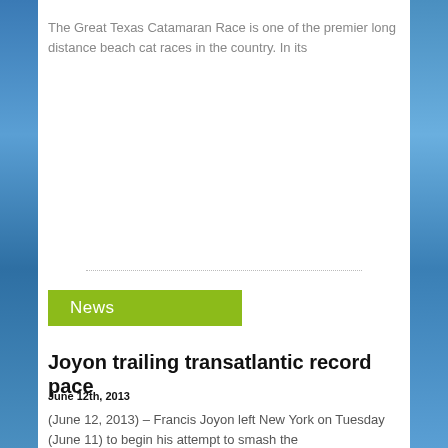The Great Texas Catamaran Race is one of the premier long distance beach cat races in the country. In its
News
Joyon trailing transatlantic record pace
June 12th, 2013
(June 12, 2013) – Francis Joyon left New York on Tuesday (June 11) to begin his attempt to smash the